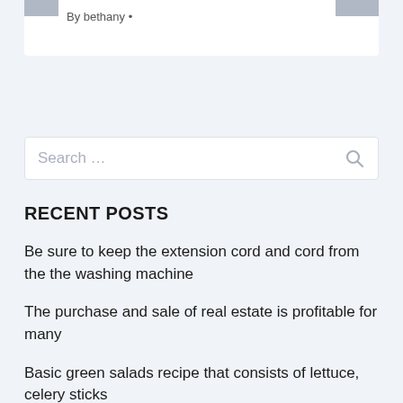By bethany •
Search …
RECENT POSTS
Be sure to keep the extension cord and cord from the the washing machine
The purchase and sale of real estate is profitable for many
Basic green salads recipe that consists of lettuce, celery sticks